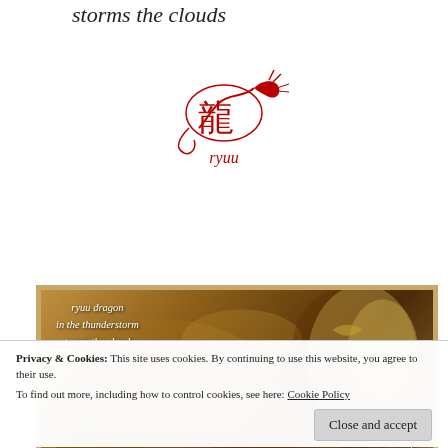storms the clouds
[Figure (logo): Red dragon logo with Chinese character 龍 and text 'ryuu' below in italic red]
[Figure (illustration): Sepia-toned dragon painting with overlaid haiku text in English and French: 'ryuu dragon / in the thunderstorm / storms the clouds' and 'ryuu dragon / au cours de l'orage / s'attaque aux nuages' with author 'Richard Vallance']
Privacy & Cookies: This site uses cookies. By continuing to use this website, you agree to their use. To find out more, including how to control cookies, see here: Cookie Policy
Close and accept
s'attaque aux nuages